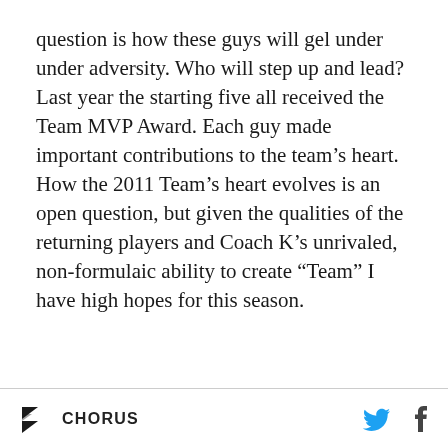question is how these guys will gel under under adversity. Who will step up and lead? Last year the starting five all received the Team MVP Award. Each guy made important contributions to the team’s heart. How the 2011 Team’s heart evolves is an open question, but given the qualities of the returning players and Coach K’s unrivaled, non-formulaic ability to create “Team” I have high hopes for this season.
CHORUS [logo] [Twitter icon] [Facebook icon]